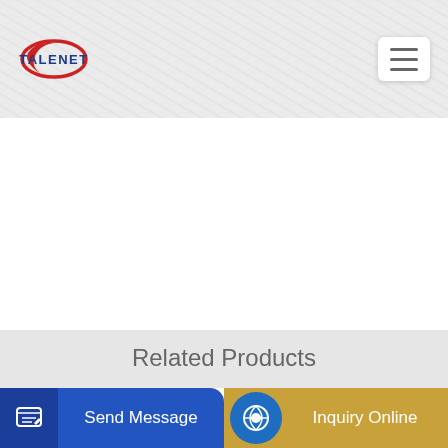TALENET
Related Products
Chinese suppliers New 48m Truck Mounted Concrete Pump
YCZG Concrete Batching Plant
Send Message
Inquiry Online